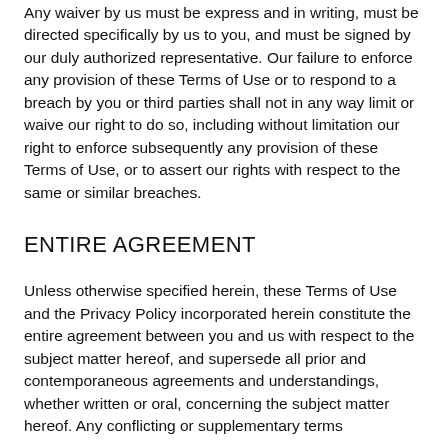Any waiver by us must be express and in writing, must be directed specifically by us to you, and must be signed by our duly authorized representative. Our failure to enforce any provision of these Terms of Use or to respond to a breach by you or third parties shall not in any way limit or waive our right to do so, including without limitation our right to enforce subsequently any provision of these Terms of Use, or to assert our rights with respect to the same or similar breaches.
ENTIRE AGREEMENT
Unless otherwise specified herein, these Terms of Use and the Privacy Policy incorporated herein constitute the entire agreement between you and us with respect to the subject matter hereof, and supersede all prior and contemporaneous agreements and understandings, whether written or oral, concerning the subject matter hereof. Any conflicting or supplementary terms